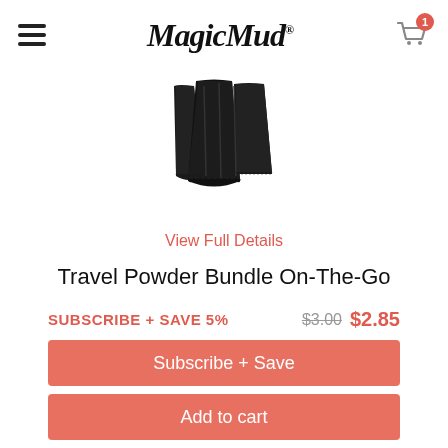MagicMud
[Figure (photo): Product image of black powder packets - Travel Powder Bundle On-The-Go]
View Full Details
Travel Powder Bundle On-The-Go
SUBSCRIBE + SAVE 5%  $3.00  $2.85
Subscribe + Save
Add to cart